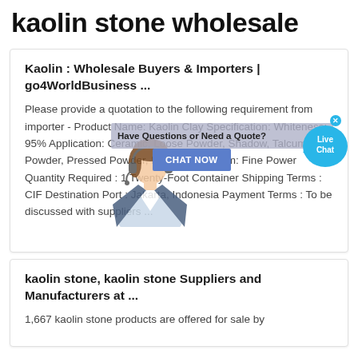kaolin stone wholesale
Kaolin : Wholesale Buyers & Importers | go4WorldBusiness ...
Please provide a quotation to the following requirement from importer - Product Name: Kaolin Clay Specification: Whiteness: 95% Application: Ceramic, Loose Powder, Shadow, Talcum Powder, Pressed Powder, Rouge, Etc. Form: Fine Power Quantity Required : 1 Twenty-Foot Container Shipping Terms : CIF Destination Port : Jakarta, Indonesia Payment Terms : To be discussed with suppliers ...
kaolin stone, kaolin stone Suppliers and Manufacturers at ...
1,667 kaolin stone products are offered for sale by